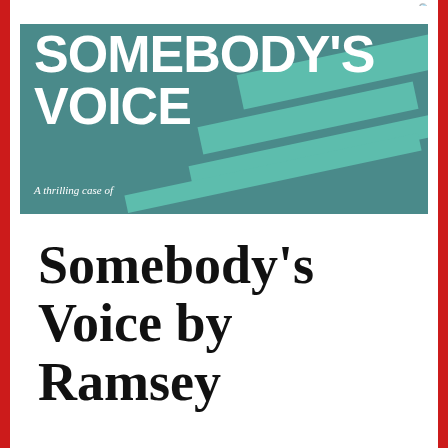≡ MENU  🔍
[Figure (illustration): Book cover for 'Somebody's Voice' showing white bold uppercase text on a teal/dark teal background with diagonal teal geometric shapes. Subtitle reads 'A thrilling case of']
Somebody's Voice by Ramsey